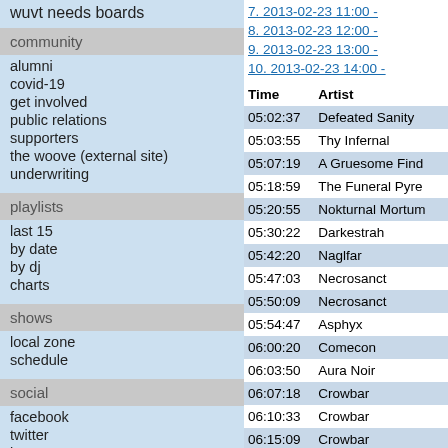wuvt needs boards
community
alumni
covid-19
get involved
public relations
supporters
the woove (external site)
underwriting
playlists
last 15
by date
by dj
charts
shows
local zone
schedule
social
facebook
twitter
instagram
7. 2013-02-23 11:00 -
8. 2013-02-23 12:00 -
9. 2013-02-23 13:00 -
10. 2013-02-23 14:00 -
| Time | Artist |
| --- | --- |
| 05:02:37 | Defeated Sanity |
| 05:03:55 | Thy Infernal |
| 05:07:19 | A Gruesome Find |
| 05:18:59 | The Funeral Pyre |
| 05:20:55 | Nokturnal Mortum |
| 05:30:22 | Darkestrah |
| 05:42:20 | Naglfar |
| 05:47:03 | Necrosanct |
| 05:50:09 | Necrosanct |
| 05:54:47 | Asphyx |
| 06:00:20 | Comecon |
| 06:03:50 | Aura Noir |
| 06:07:18 | Crowbar |
| 06:10:33 | Crowbar |
| 06:15:09 | Crowbar |